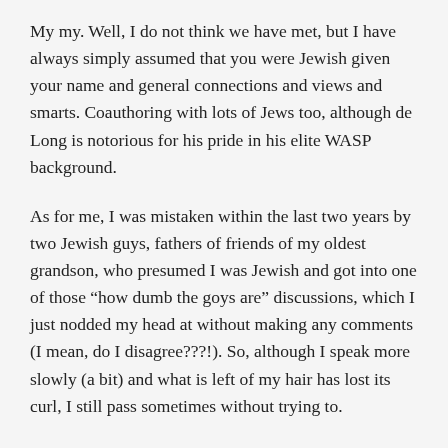My my. Well, I do not think we have met, but I have always simply assumed that you were Jewish given your name and general connections and views and smarts. Coauthoring with lots of Jews too, although de Long is notorious for his pride in his elite WASP background.
As for me, I was mistaken within the last two years by two Jewish guys, fathers of friends of my oldest grandson, who presumed I was Jewish and got into one of those “how dumb the goys are” discussions, which I just nodded my head at without making any comments (I mean, do I disagree???!). So, although I speak more slowly (a bit) and what is left of my hair has lost its curl, I still pass sometimes without trying to.